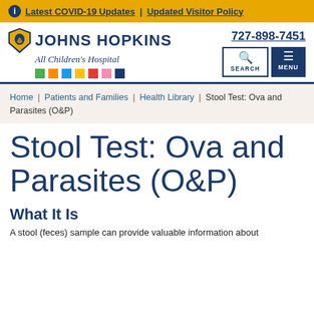Latest COVID-19 Updates | Updated Visitor Policy
[Figure (logo): Johns Hopkins All Children's Hospital logo with shield icon and multicolored dots]
727-898-7451
Home | Patients and Families | Health Library | Stool Test: Ova and Parasites (O&P)
Stool Test: Ova and Parasites (O&P)
What It Is
A stool (feces) sample can provide valuable information about